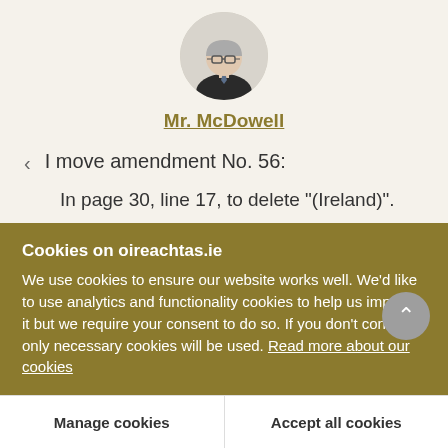[Figure (photo): Circular profile photo of Mr. McDowell, an older man in a suit.]
Mr. McDowell
I move amendment No. 56:
In page 30, line 17, to delete "(Ireland)".
I wish to give the select committee notice of my intention to introduce an amendment on Report
Cookies on oireachtas.ie
We use cookies to ensure our website works well. We'd like to use analytics and functionality cookies to help us improve it but we require your consent to do so. If you don't consent, only necessary cookies will be used. Read more about our cookies
Manage cookies
Accept all cookies